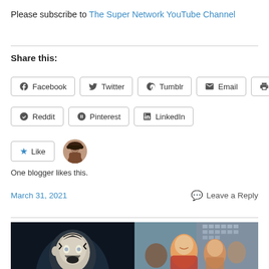Please subscribe to The Super Network YouTube Channel
Share this:
Facebook
Twitter
Tumblr
Email
Print
Reddit
Pinterest
LinkedIn
One blogger likes this.
March 31, 2021
Leave a Reply
[Figure (photo): Two movie stills side by side: left shows a person with theatrical face paint in a dark scene; right shows a smiling man with a woman in front of a building outdoors.]